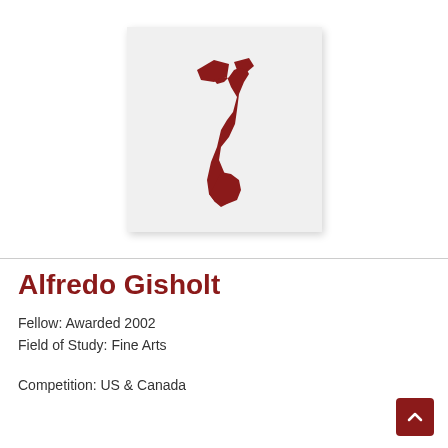[Figure (logo): Abstract red silhouette of a face profile on a light gray background, serving as an organization logo]
Alfredo Gisholt
Fellow: Awarded 2002
Field of Study: Fine Arts
Competition: US & Canada